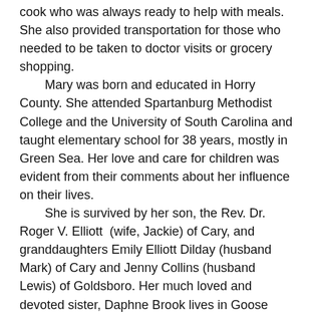cook who was always ready to help with meals. She also provided transportation for those who needed to be taken to doctor visits or grocery shopping.
Mary was born and educated in Horry County. She attended Spartanburg Methodist College and the University of South Carolina and taught elementary school for 38 years, mostly in Green Sea. Her love and care for children was evident from their comments about her influence on their lives.
She is survived by her son, the Rev. Dr. Roger V. Elliott (wife, Jackie) of Cary, and granddaughters Emily Elliott Dilday (husband Mark) of Cary and Jenny Collins (husband Lewis) of Goldsboro. Her much loved and devoted sister, Daphne Brook lives in Goose Creek, with her husband Bob. Mary is also survived by four bright and beautiful great grandchildren, Hannah, Hunter, David and Logan, and many nieces and nephews, whom she loved dearly.
The family expresses gratitude to the staff of Woodland Terrace and Rex Rehab and Nursing Center for their excellent and compassionate care.
Funeral services were planned for 2 p.m. Wednesday, Jan. 13, at St. Paul United Methodist Church in Tabor City. Visitation was planned for the hour prior to the service, at the church.